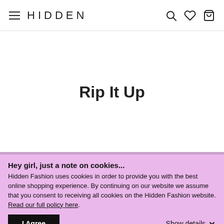HIDDEN
Rip It Up
Hey girl, just a note on cookies...
Hidden Fashion uses cookies in order to provide you with the best online shopping experience. By continuing on our website we assume that you consent to receiving all cookies on the Hidden Fashion website. Read our full policy here.